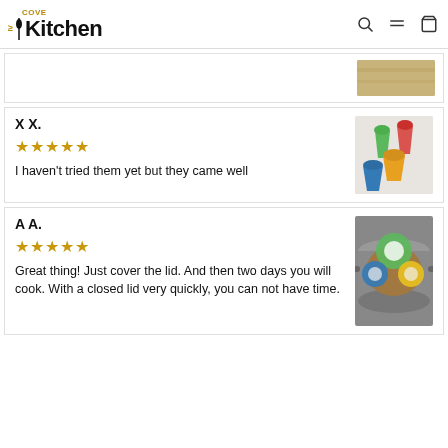My Kitchen Cove
[Figure (photo): Partial review card showing a wooden surface photo]
X X.
★★★★★
I haven't tried them yet but they came well
[Figure (photo): Colorful silicone measuring cups in green, red, blue, orange]
A A.
★★★★★
Great thing! Just cover the lid. And then two days you will cook. With a closed lid very quickly, you can not have time.
[Figure (photo): Silicone egg poachers in green, blue, yellow inside a pot with water]